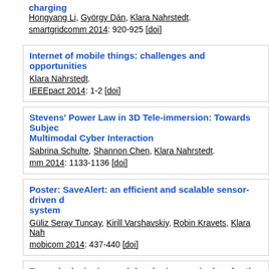charging
Hongyang Li, György Dán, Klara Nahrstedt.
smartgridcomm 2014: 920-925 [doi]
Internet of mobile things: challenges and opportunities
Klara Nahrstedt.
IEEEpact 2014: 1-2 [doi]
Stevens' Power Law in 3D Tele-immersion: Towards Subject Multimodal Cyber Interaction
Sabrina Schulte, Shannon Chen, Klara Nahrstedt.
mm 2014: 1133-1136 [doi]
Poster: SaveAlert: an efficient and scalable sensor-driven d system
Güliz Seray Tuncay, Kirill Varshavskiy, Robin Kravets, Klara Nah
mobicom 2014: 437-440 [doi]
Towards designing and developing curriculum for the chall